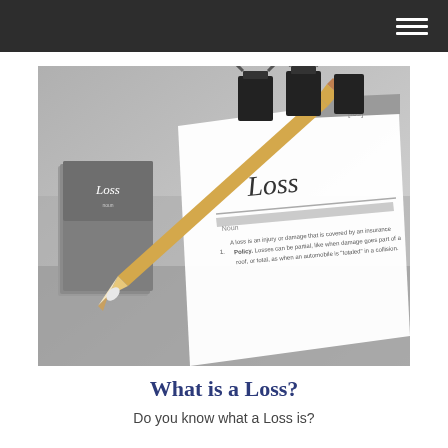[Figure (photo): A styled flat-lay photo of office stationery items on a grey surface: binder clips, a pencil, business cards, and a document all styled around the word 'Loss' with a dictionary-style definition card showing 'Loss' as the heading.]
What is a Loss?
Do you know what a Loss is?